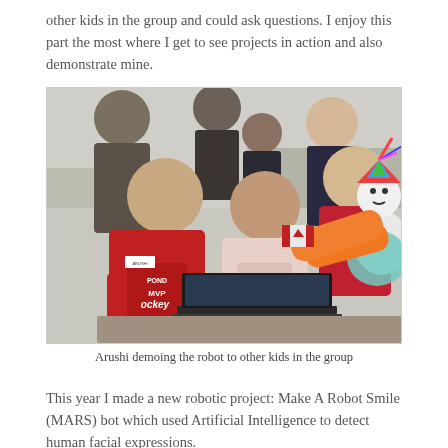other kids in the group and could ask questions. I enjoy this part the most where I get to see projects in action and also demonstrate mine.
[Figure (photo): Children gathered around a robot at what appears to be a science fair or robotics event. A girl in a pink jacket (Arushi) is demonstrating a robot with an orange arm holding a Canadian flag to other kids. A boy in a red hockey jersey stands to the left, and a girl in a red Canada shirt stands to the right. A laptop is visible on the table in front of the robot.]
Arushi demoing the robot to other kids in the group
This year I made a new robotic project: Make A Robot Smile (MARS) bot which used Artificial Intelligence to detect human facial expressions.